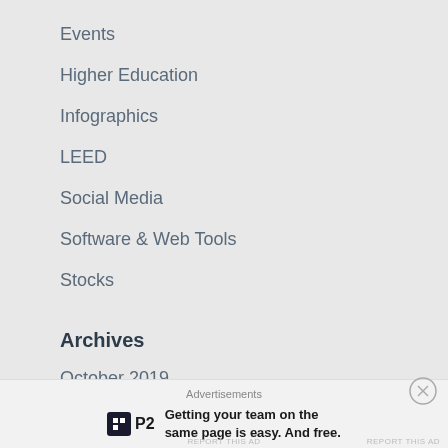Events
Higher Education
Infographics
LEED
Social Media
Software & Web Tools
Stocks
Archives
October 2019
August 2019
Advertisements
[Figure (logo): P2 logo advertisement with tagline: Getting your team on the same page is easy. And free.]